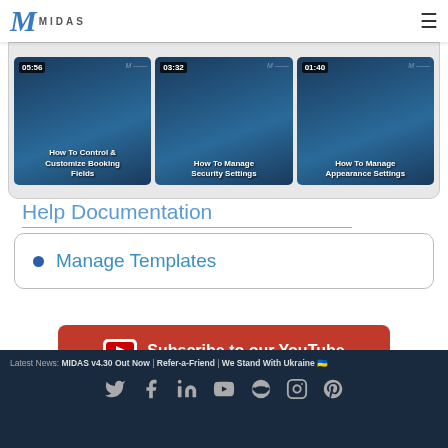MIDAS
[Figure (screenshot): Three video thumbnails: '05:56 How To Control & Customize Booking Fields', '03:32 How To Manage Security Settings', '01:40 How To Manage Appearance Settings']
Help Documentation
Manage Templates
Subscribe to our YouTube channel
Latest News: MIDAS v4.30 Out Now | Refer-a-Friend | We Stand With Ukraine 🇺🇦